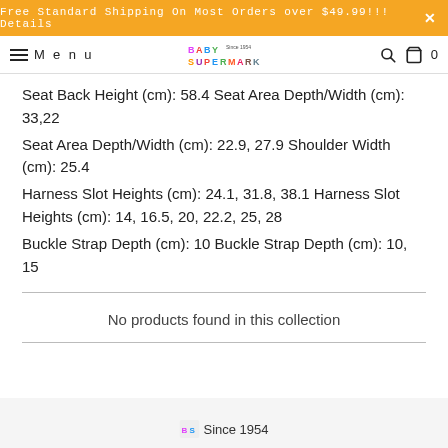Free Standard Shipping On Most Orders over $49.99!!! Details
Menu [Baby Supermarket logo] [search] [cart] 0
Seat Back Height (cm): 58.4 Seat Area Depth/Width (cm): 33,22
Seat Area Depth/Width (cm): 22.9, 27.9 Shoulder Width (cm): 25.4
Harness Slot Heights (cm): 24.1, 31.8, 38.1 Harness Slot Heights (cm): 14, 16.5, 20, 22.2, 25, 28
Buckle Strap Depth (cm): 10 Buckle Strap Depth (cm): 10, 15
No products found in this collection
[Figure (logo): Baby Supermarket logo with colorful letter beads and 'Since 1954' text]